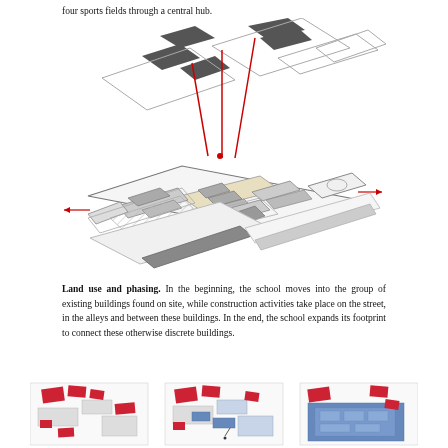four sports fields through a central hub.
[Figure (engineering-diagram): Axonometric exploded diagram of a school campus layout showing four sports fields connected through a central hub, with red lines indicating connections between building components. Upper portion shows flat rectangular fields with dark gray pads; lower portion shows detailed building plan with internal courtyards and circulation paths. Red arrows extend to right and left.]
Land use and phasing. In the beginning, the school moves into the group of existing buildings found on site, while construction activities take place on the street, in the alleys and between these buildings. In the end, the school expands its footprint to connect these otherwise discrete buildings.
[Figure (schematic): Three phasing diagrams side by side showing land use evolution of school campus. Left diagram shows scattered red buildings on white/gray background. Middle diagram shows red buildings with some blue-filled rectangles indicating new construction. Right diagram shows predominantly blue-filled campus with red accent buildings, showing full school footprint expansion.]